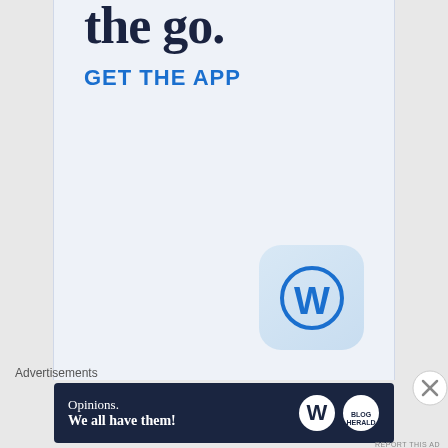the go.
GET THE APP
[Figure (logo): WordPress app icon — rounded square with light blue gradient background, WordPress W logo in blue]
Advertisements
[Figure (infographic): Dark navy banner ad: 'Opinions. We all have them!' with WordPress logo and Blog Herald logo on the right]
REPORT THIS AD